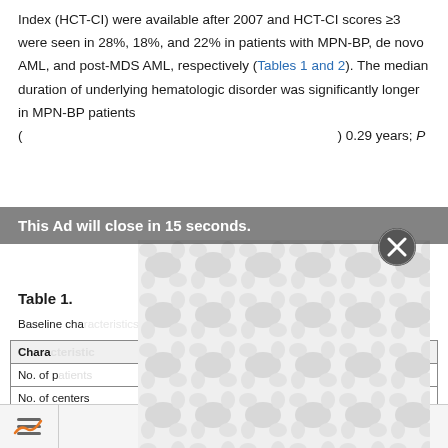Index (HCT-CI) were available after 2007 and HCT-CI scores ≥3 were seen in 28%, 18%, and 22% in patients with MPN-BP, de novo AML, and post-MDS AML, respectively (Tables 1 and 2). The median duration of underlying hematologic disorder was significantly longer in MPN-BP patients (...) 0.29 years; P ...
Table 1.
Baseline characteristics of patients...
| Characteristic |  |  | P |
| --- | --- | --- | --- |
| No. of p... |  |  |  |
| No. of centers | 73 | 221 |  |
Patients and methods